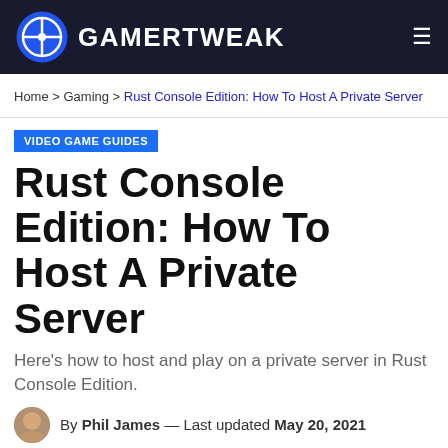GAMERTWEAK
Home > Gaming > Rust Console Edition: How To Host A Private Server
VIDEO GAME GUIDES
Rust Console Edition: How To Host A Private Server
Here's how to host and play on a private server in Rust Console Edition.
By Phil James — Last updated May 20, 2021